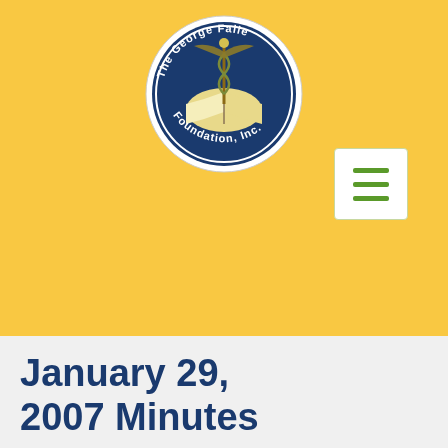[Figure (logo): The George Faile Foundation, Inc. circular logo featuring a caduceus symbol over an open book on a navy blue background]
[Figure (other): Hamburger menu button (three horizontal green lines) in a white rounded rectangle]
January 29, 2007 Minutes